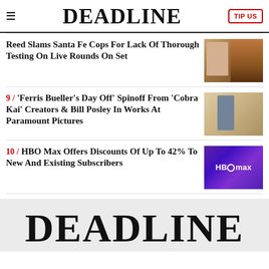DEADLINE
Reed Slams Santa Fe Cops For Lack Of Thorough Testing On Live Rounds On Set
9 / 'Ferris Bueller's Day Off' Spinoff From 'Cobra Kai' Creators & Bill Posley In Works At Paramount Pictures
10 / HBO Max Offers Discounts Of Up To 42% To New And Existing Subscribers
[Figure (logo): Large DEADLINE logo at bottom of page]